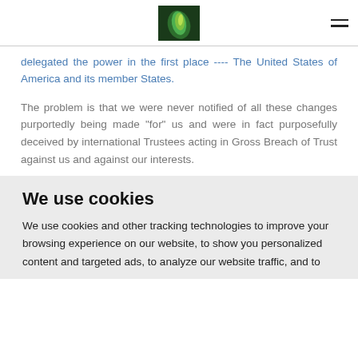[logo image: green leaf]
delegated the power in the first place ---- The United States of America and its member States.
The problem is that we were never notified of all these changes purportedly being made "for" us and were in fact purposefully deceived by international Trustees acting in Gross Breach of Trust against us and against our interests.
We use cookies
We use cookies and other tracking technologies to improve your browsing experience on our website, to show you personalized content and targeted ads, to analyze our website traffic, and to